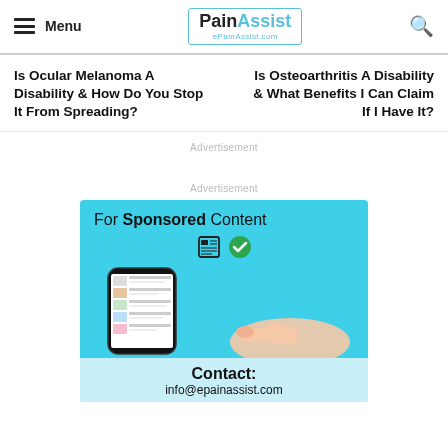Menu | PainAssist ePainAssist.com
Is Ocular Melanoma A Disability & How Do You Stop It From Spreading?
Is Osteoarthritis A Disability & What Benefits I Can Claim If I Have It?
Advertisement
Advertisement
[Figure (infographic): Sponsored content advertisement banner showing a hand holding a smartphone with medical content, icons for newspaper and checkmark, text reading 'For Sponsored Content', 'Contact: info@epainassist.com']